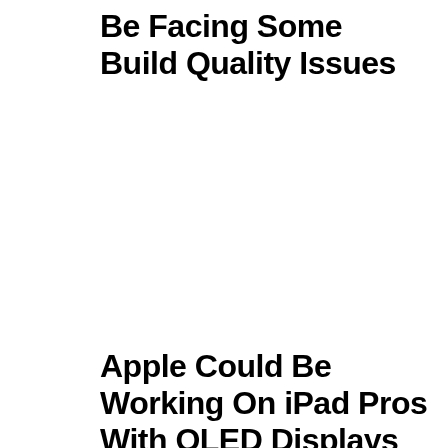Be Facing Some Build Quality Issues
Apple Could Be Working On iPad Pros With OLED Displays